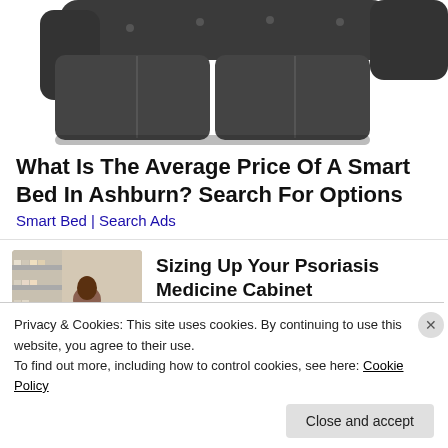[Figure (photo): Partial view of a dark gray sectional sofa from above, against white background]
What Is The Average Price Of A Smart Bed In Ashburn? Search For Options
Smart Bed | Search Ads
[Figure (photo): Woman in a plaid shirt shopping in a pharmacy/store aisle, reaching for products on shelves]
Sizing Up Your Psoriasis Medicine Cabinet
HealthCentral
Privacy & Cookies: This site uses cookies. By continuing to use this website, you agree to their use.
To find out more, including how to control cookies, see here: Cookie Policy